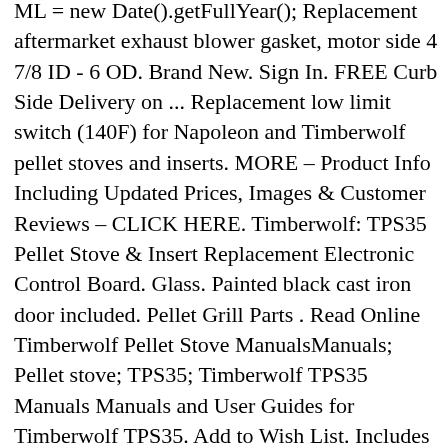ML = new Date().getFullYear(); Replacement aftermarket exhaust blower gasket, motor side 4 7/8 ID - 6 OD. Brand New. Sign In. FREE Curb Side Delivery on ... Replacement low limit switch (140F) for Napoleon and Timberwolf pellet stoves and inserts. MORE – Product Info Including Updated Prices, Images & Customer Reviews – CLICK HERE. Timberwolf: TPS35 Pellet Stove & Insert Replacement Electronic Control Board. Glass. Painted black cast iron door included. Pellet Grill Parts . Read Online Timberwolf Pellet Stove ManualsManuals; Pellet stove; TPS35; Timberwolf TPS35 Manuals Manuals and User Guides for Timberwolf TPS35. Add to Wish List. Includes gasket cement. Brand New; direct fit replacement PCB control from original OEM Design. The Timberwolf is equipped with a built-in auto ignitor and thermostatic control. Timberwolf TPS35. Text, image